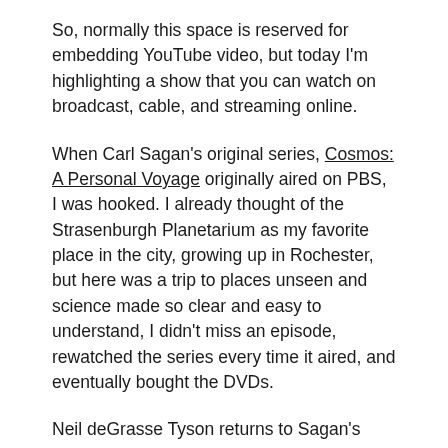So, normally this space is reserved for embedding YouTube video, but today I'm highlighting a show that you can watch on broadcast, cable, and streaming online.
When Carl Sagan's original series, Cosmos: A Personal Voyage originally aired on PBS, I was hooked. I already thought of the Strasenburgh Planetarium as my favorite place in the city, growing up in Rochester, but here was a trip to places unseen and science made so clear and easy to understand, I didn't miss an episode, rewatched the series every time it aired, and eventually bought the DVDs.
Neil deGrasse Tyson returns to Sagan's exploration of our universe, but adds dimension and knowledge gained since the original aired almost 35 years ago. His series should serve as inspiration for learning more about our world.